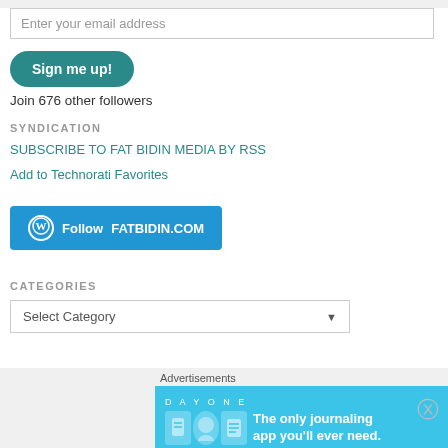Enter your email address
Sign me up!
Join 676 other followers
SYNDICATION
SUBSCRIBE TO FAT BIDIN MEDIA BY RSS
Add to Technorati Favorites
Follow FATBIDIN.COM
CATEGORIES
Select Category
Advertisements
[Figure (infographic): Day One journaling app advertisement: 'The only journaling app you'll ever need.']